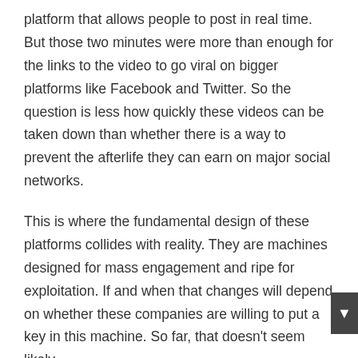platform that allows people to post in real time. But those two minutes were more than enough for the links to the video to go viral on bigger platforms like Facebook and Twitter. So the question is less how quickly these videos can be taken down than whether there is a way to prevent the afterlife they can earn on major social networks.
This is where the fundamental design of these platforms collides with reality. They are machines designed for mass engagement and ripe for exploitation. If and when that changes will depend on whether these companies are willing to put a key in this machine. So far, that doesn't seem likely.